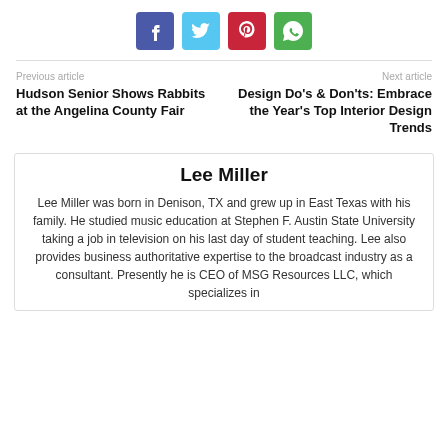[Figure (infographic): Row of four social media share buttons: Facebook (purple-blue), Twitter (cyan), Pinterest (red), WhatsApp (green)]
Previous article
Hudson Senior Shows Rabbits at the Angelina County Fair
Next article
Design Do's & Don'ts: Embrace the Year's Top Interior Design Trends
Lee Miller
Lee Miller was born in Denison, TX and grew up in East Texas with his family. He studied music education at Stephen F. Austin State University taking a job in television on his last day of student teaching. Lee also provides business authoritative expertise to the broadcast industry as a consultant. Presently he is CEO of MSG Resources LLC, which specializes in